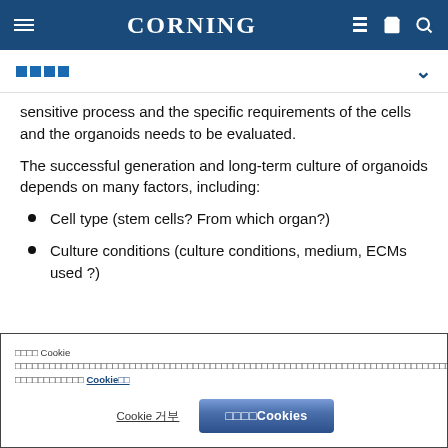CORNING
□□□□
sensitive process and the specific requirements of the cells and the organoids needs to be evaluated.
The successful generation and long-term culture of organoids depends on many factors, including:
Cell type (stem cells? From which organ?)
Culture conditions (culture conditions, medium, ECMs used ?)
□□□□ Cookie □□□□□□□□□□□□□□□□□□□□□□□□□□□□□□□□□□□□□□□□□□□□□□□□□□□□□□□□□□□□□□□□□□□□□□□□□□□□□□□□□□□□□□□□□□□□□□□□ □□□□□□□□□□□□ Cookie□□
Cookie 거부 | □□□□Cookies